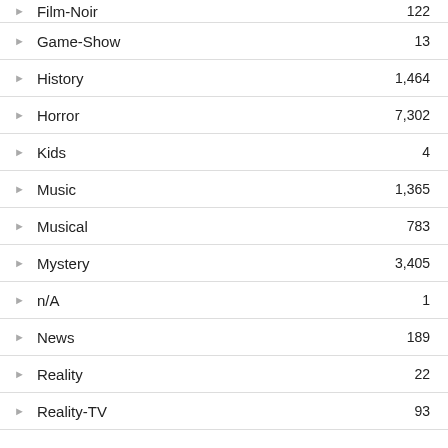Film-Noir — 122
Game-Show — 13
History — 1,464
Horror — 7,302
Kids — 4
Music — 1,365
Musical — 783
Mystery — 3,405
n/A — 1
News — 189
Reality — 22
Reality-TV — 93